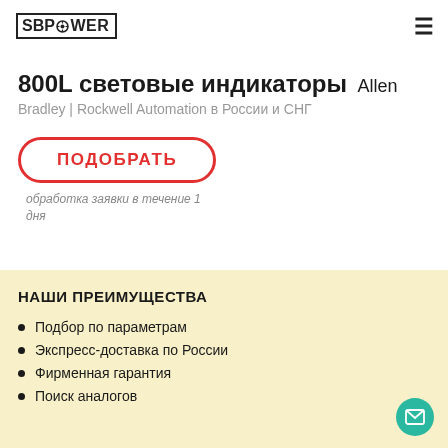SB POWER
800L световые индикаторы Allen Bradley | Rockwell Automation в России и СНГ
ПОДОБРАТЬ
обработка заявки в течение 1 дня
НАШИ ПРЕИМУЩЕСТВА
Подбор по параметрам
Экспресс-доставка по России
Фирменная гарантия
Поиск аналогов